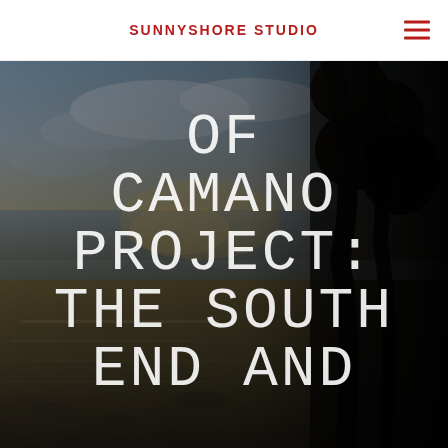SUNNYSHORE STUDIO
OF CAMANO PROJECT: THE SOUTH END AND